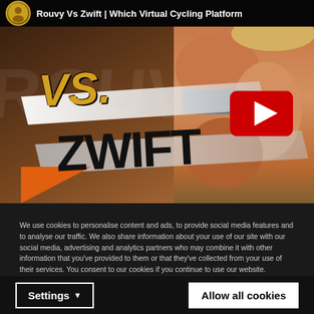[Figure (screenshot): YouTube embedded video thumbnail showing 'Rouvy Vs Zwift | Which Virtual Cycling Platform' with VS. text in gold and ZWIFT text in black, paint brush strokes, a cyclist in the background, and a YouTube play button. Below the thumbnail is a 'Watch on YouTube' bar.]
We use cookies to personalise content and ads, to provide social media features and to analyse our traffic. We also share information about your use of our site with our social media, advertising and analytics partners who may combine it with other information that you've provided to them or that they've collected from your use of their services. You consent to our cookies if you continue to use our website.
Settings ▼
Allow all cookies